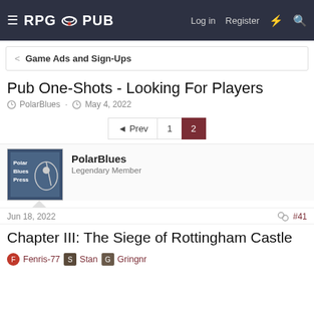RPG PUB — Log in  Register
< Game Ads and Sign-Ups
Pub One-Shots - Looking For Players
PolarBlues · May 4, 2022
Prev  1  2
PolarBlues
Legendary Member
Jun 18, 2022    #41
Chapter III: The Siege of Rottingham Castle
Fenris-77  Stan  Gringnr